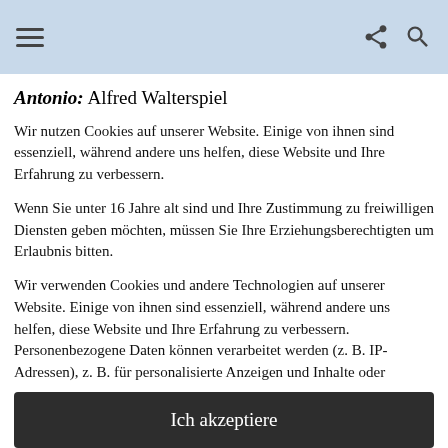[Navigation header with hamburger menu, share icon, and search icon]
Antonio: Alfred Walterspiel
Wir nutzen Cookies auf unserer Website. Einige von ihnen sind essenziell, während andere uns helfen, diese Website und Ihre Erfahrung zu verbessern.
Wenn Sie unter 16 Jahre alt sind und Ihre Zustimmung zu freiwilligen Diensten geben möchten, müssen Sie Ihre Erziehungsberechtigten um Erlaubnis bitten.
Wir verwenden Cookies und andere Technologien auf unserer Website. Einige von ihnen sind essenziell, während andere uns helfen, diese Website und Ihre Erfahrung zu verbessern. Personenbezogene Daten können verarbeitet werden (z. B. IP-Adressen), z. B. für personalisierte Anzeigen und Inhalte oder
Ich akzeptiere
Individuelle Datenschutzeinstellungen